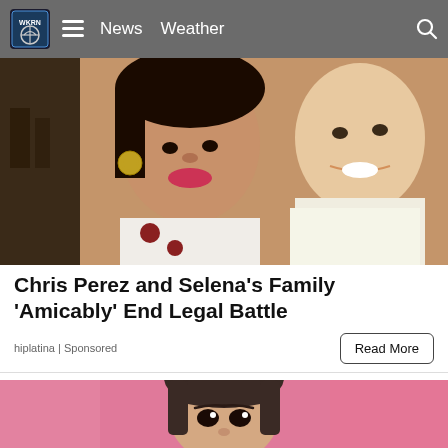News  Weather
[Figure (photo): Close-up photo of Chris Perez and Selena smiling together, vintage style photo]
Chris Perez and Selena's Family 'Amicably' End Legal Battle
hiplatina | Sponsored
[Figure (photo): Close-up portrait of a young woman with dark hair and bangs against a pink background]